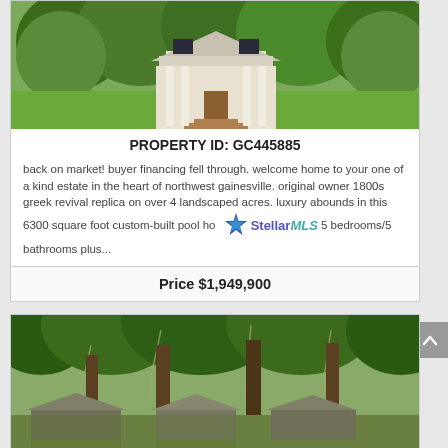[Figure (photo): Exterior photo of a large white Greek Revival style home with columns and steps, surrounded by lush green trees and landscaping]
PROPERTY ID: GC445885
back on market! buyer financing fell through. welcome home to your one of a kind estate in the heart of northwest gainesville. original owner 1800s greek revival replica on over 4 landscaped acres. luxury abounds in this 6300 square foot custom-built pool house 5 bedrooms/5 bathrooms plus...
Price $1,949,900
[Figure (photo): Exterior photo of rustic buildings under large moss-draped oak trees in a wooded setting]